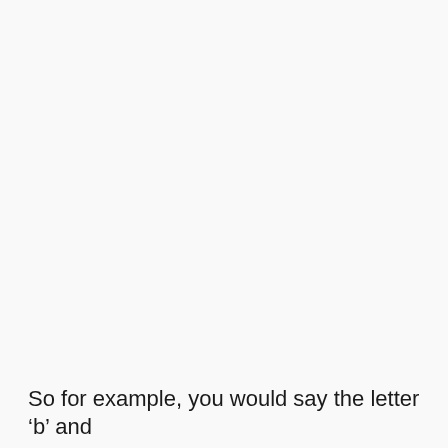So for example, you would say the letter ‘b’ and